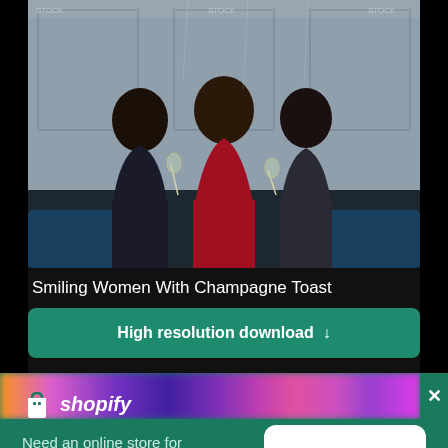[Figure (photo): Three smiling women in elegant dresses holding champagne glasses, seated on a blue velvet sofa against a grey wall background.]
Smiling Women With Champagne Toast
[Figure (other): Green download button labeled 'High resolution download' with a downward arrow icon.]
[Figure (other): A blurred colorful horizontal banner strip in purple, pink, and orange tones with an X close button on the right.]
[Figure (logo): Shopify logo: white shopping bag icon followed by italic bold text 'shopify' in white on green background.]
Need an online store for your business?
[Figure (other): White rounded button with text 'Start free trial' in dark green.]